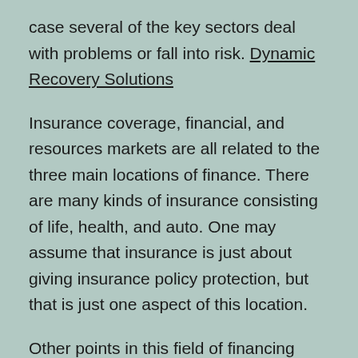case several of the key sectors deal with problems or fall into risk. Dynamic Recovery Solutions
Insurance coverage, financial, and resources markets are all related to the three main locations of finance. There are many kinds of insurance consisting of life, health, and auto. One may assume that insurance is just about giving insurance policy protection, but that is just one aspect of this location.
Other points in this field of financing consist of economic preparation, organization money,